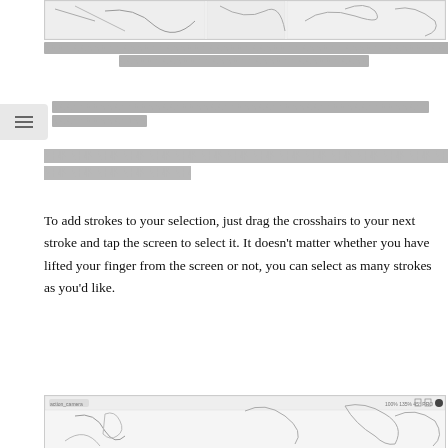[Figure (screenshot): Screenshot of a drawing application showing line art sketches]
[redacted caption text about figure]
[redacted section header text with navigation icon]
[redacted section header text bold]
To add strokes to your selection, just drag the crosshairs to your next stroke and tap the screen to select it. It doesn't matter whether you have lifted your finger from the screen or not, you can select as many strokes as you'd like.
[Figure (screenshot): Screenshot of a drawing application showing sketched figures]